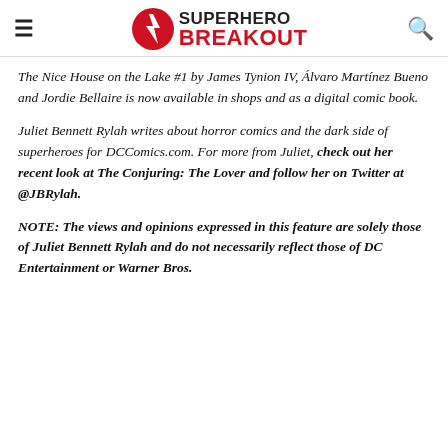Superhero Breakout
The Nice House on the Lake #1 by James Tynion IV, Álvaro Martínez Bueno and Jordie Bellaire is now available in shops and as a digital comic book.
Juliet Bennett Rylah writes about horror comics and the dark side of superheroes for DCComics.com. For more from Juliet, check out her recent look at The Conjuring: The Lover and follow her on Twitter at @JBRylah.
NOTE: The views and opinions expressed in this feature are solely those of Juliet Bennett Rylah and do not necessarily reflect those of DC Entertainment or Warner Bros.